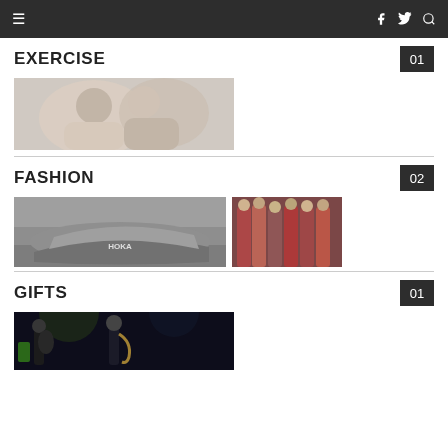≡  f  🐦  🔍
EXERCISE  01
[Figure (photo): Two people smiling closely together, couple photo]
FASHION  02
[Figure (photo): Close-up of grey HOKA running shoe]
[Figure (photo): Fashion runway models in colorful outfits]
GIFTS  01
[Figure (photo): Jazz musicians on stage, one playing saxophone]